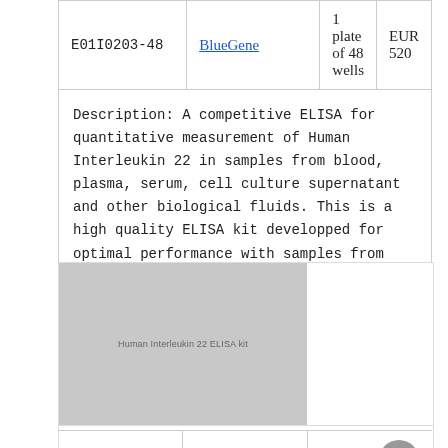|  |  |  |  |
| --- | --- | --- | --- |
| E01I0203-48 | BlueGene | 1 plate of 48 wells | EUR 520 |
| Description: A competitive ELISA for quantitative measurement of Human Interleukin 22 in samples from blood, plasma, serum, cell culture supernatant and other biological fluids. This is a high quality ELISA kit developped for optimal performance with samples from the particular species. |  |  |  |
[Figure (photo): Product image placeholder for Human Interleukin 22 ELISA kit, grey rectangle with small text label]
Human Interleukin 22 ELISA kit